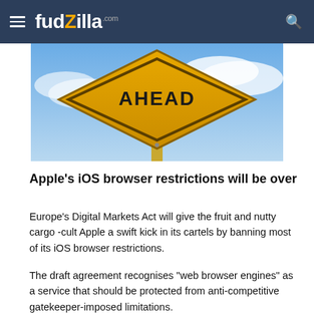fudzilla.com
[Figure (photo): A yellow diamond-shaped warning road sign reading 'AHEAD' against a cloudy blue sky background]
Apple's iOS browser restrictions will be over
Europe's Digital Markets Act will give the fruit and nutty cargo -cult Apple a swift kick in its cartels by banning most of its iOS browser restrictions.
The draft agreement recognises "web browser engines" as a service that should be protected from anti-competitive gatekeeper-imposed limitations.